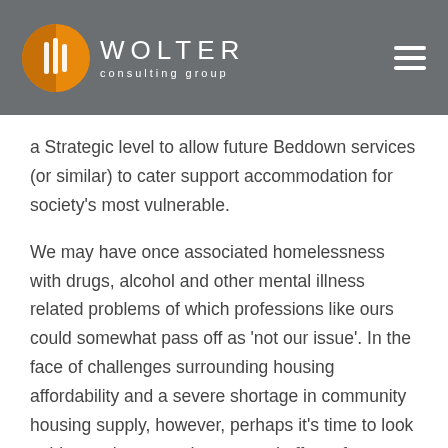[Figure (logo): Wolter Consulting Group logo with orange circular icon and white text on dark gray header background, with hamburger menu icon on the right]
a Strategic level to allow future Beddown services (or similar) to cater support accommodation for society's most vulnerable.
We may have once associated homelessness with drugs, alcohol and other mental illness related problems of which professions like ours could somewhat pass off as 'not our issue'. In the face of challenges surrounding housing affordability and a severe shortage in community housing supply, however, perhaps it's time to look at bigger picture, and cause and effect of our drastically